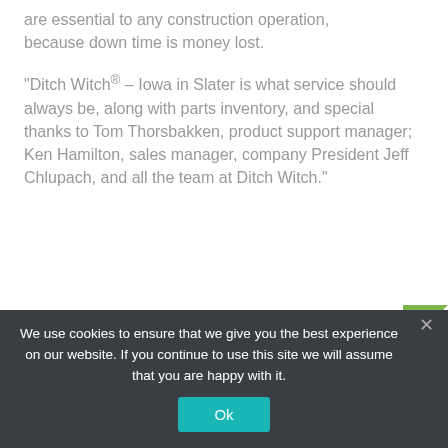are essential to any construction operation, because down time is money lost.
“Ditch Witch® – Iowa in Slater is what service should always be, along with parts inventory, and special thanks to Tom Thorsbakken, product support manager; Ken Hamilton, sales manager, company President Jeff Chlupach, and all the team at Ditch Witch.”
We use cookies to ensure that we give you the best experience on our website. If you continue to use this site we will assume that you are happy with it.